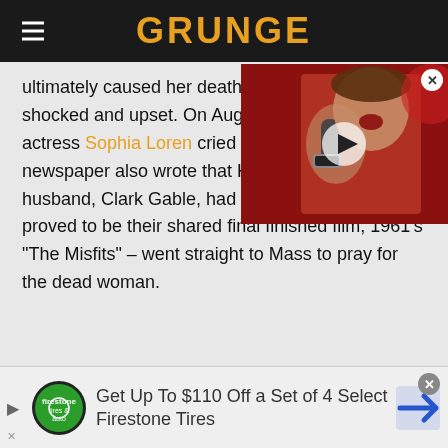GRUNGE
ultimately caused her death, they were still shocked and upset. On August 6, the New Y[ork Times reported that Italian actress Sophia Loren cried wh[en she heard the news. The] newspaper also wrote that Ka[rl] husband, Clark Gable, had wor[ked with Monroe on what] proved to be their shared final finished film, 1961's "The Misfits" – went straight to Mass to pray for the dead woman.
[Figure (screenshot): Video thumbnail showing a person singing into a microphone with a play button overlay]
[Figure (infographic): Advertisement banner: Get Up To $110 Off a Set of 4 Select Firestone Tires, with Firestone tires & auto logo and navigation arrow icon]